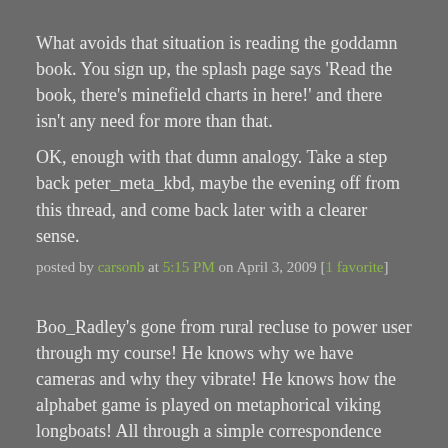What avoids that situation is reading the goddamn book. You sign up, the splash page says 'Read the book, there's minefield charts in here!' and there isn't any need for more than that.
OK, enough with that dumn analogy. Take a step back peter_meta_kbd, maybe the evening off from this thread, and come back later with a clearer sense.
posted by carsonb at 5:15 PM on April 3, 2009 [1 favorite]
Boo_Radley's gone from rural recluse to power user through my course! He knows why we have cameras and why they vibrate! He knows how the alphabet game is played on metaphorical viking longboats! All through a simple correspondence course, accredited as a degree in Computer Science in several Central European provinces!